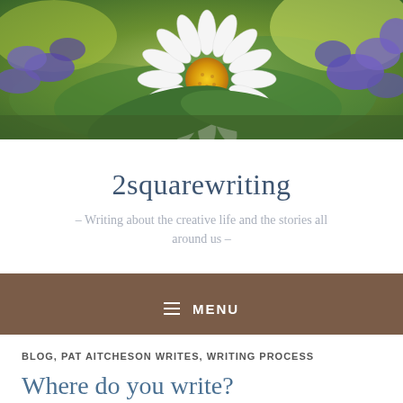[Figure (photo): Close-up photo of a white daisy with yellow center surrounded by purple/blue flowers and green foliage]
2squarewriting
– Writing about the creative life and the stories all around us –
≡ MENU
BLOG, PAT AITCHESON WRITES, WRITING PROCESS
Where do you write?